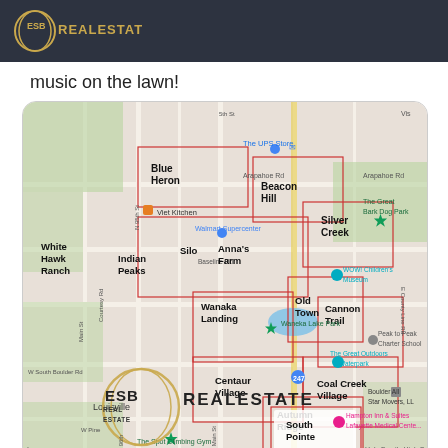ESB Real Estate
music on the lawn!
[Figure (map): Google Maps view of Lafayette/Louisville Colorado area showing neighborhoods: Blue Heron, Beacon Hill, Silver Creek, White Hawk Ranch, Indian Peaks, Silo, Anna's Farm, Wanaka Landing, Old Town, Cannon Trail, Centaur Village, Coal Creek Village, Autumn Ridge, South Pointe. Landmarks include The UPS Store, Walmart Supercenter, WOW! Children's Museum, The Great Bark Dog Park, Waneka Lake Park, The Great Outdoors Waterpark, Peak to Peak Charter School, Boulder All Star Movers LLC, Hampton Inn & Suites Lafayette Medical Center, The Spot Climbing Gym, Holy Family High School. ESB Real Estate logo watermark overlaid on map.]